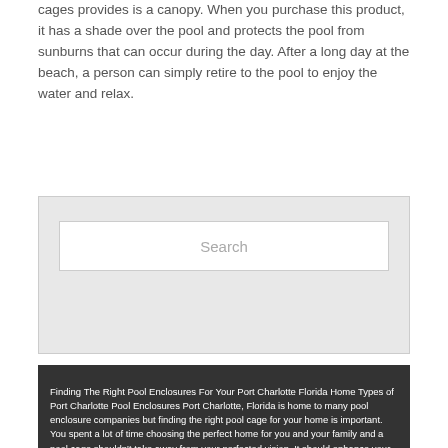cages provides is a canopy. When you purchase this product, it has a shade over the pool and protects the pool from sunburns that can occur during the day. After a long day at the beach, a person can simply retire to the pool to enjoy the water and relax.
[Figure (screenshot): Search box UI element with a text input field showing placeholder text 'Search' on a light gray background]
Finding The Right Pool Enclosures For Your Port Charlotte Florida Home Types of Port Charlotte Pool Enclosures Port Charlotte, Florida is home to many pool enclosure companies but finding the right pool cage for your home is important. You spent a lot of time choosing the perfect home for you and your family and a pool cage shouldn't take away from your perfected vision. It should enhance your home in some way. Companies like Harper's allow you to customize your pool cages in Port Charlotte to fit your lifestyle. A few types of pool enclosures include: Superscreen Aluminum Screen Pet Screen No See Um Screen Fiberglass Screen Superscreen A superscreen is one you should consider if you have a large porch. This screen type is great for golf courses. It's durable and can withstand high wind conditions. Aluminum Screen One of the highest quality with long-lasting material pool cages in Port Charlotte is an aluminum screen. Great for windows, doors, porches, decks, and lanais. These cages are great for longevity. Pet